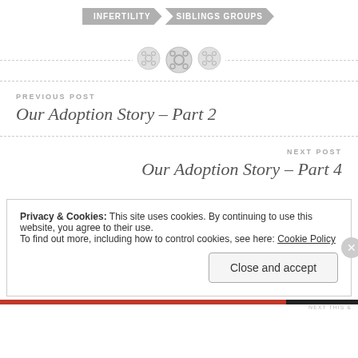INFERTILITY | SIBLINGS GROUPS
[Figure (illustration): Three decorative button icons on a dashed divider line]
PREVIOUS POST
Our Adoption Story – Part 2
NEXT POST
Our Adoption Story – Part 4
Privacy & Cookies: This site uses cookies. By continuing to use this website, you agree to their use.
To find out more, including how to control cookies, see here: Cookie Policy
Close and accept